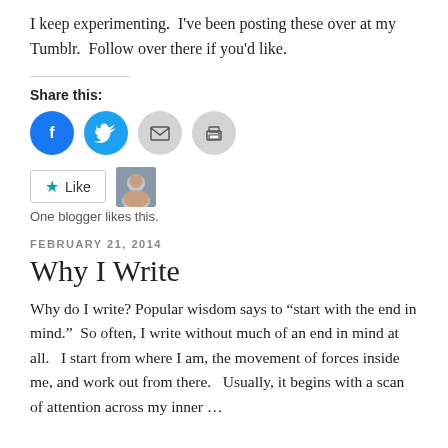I keep experimenting.  I've been posting these over at my Tumblr.  Follow over there if you'd like.
Share this:
[Figure (other): Row of four social sharing buttons: Facebook (blue circle), Twitter (blue circle), Email (grey circle), Print (grey circle)]
[Figure (other): Like button with star icon and a blogger avatar photo thumbnail. Text: One blogger likes this.]
One blogger likes this.
FEBRUARY 21, 2014
Why I Write
Why do I write? Popular wisdom says to “start with the end in mind.”  So often, I write without much of an end in mind at all.   I start from where I am, the movement of forces inside me, and work out from there.   Usually, it begins with a scan of attention across my inner …